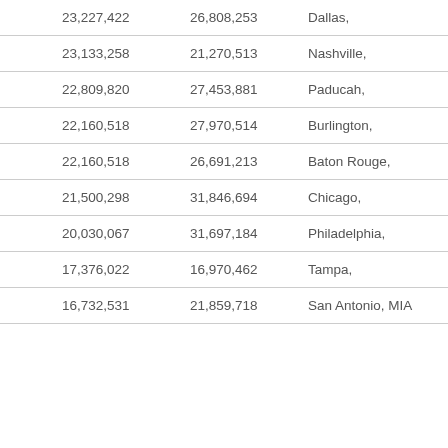| 23,227,422 | 26,808,253 | Dallas, | TX. | 6,426,214 |
| 23,133,258 | 21,270,513 | Nashville, | TN. | 1,670,890 |
| 22,809,820 | 27,453,881 | Paducah, | KY. | 98,762 |
| 22,160,518 | 27,970,514 | Burlington, | VT. | 211,261 |
| 22,160,518 | 26,691,213 | Baton Rouge, | LA. | 802,484 |
| 21,500,298 | 31,846,694 | Chicago, | IL. | 9,461,105 |
| 20,030,067 | 31,697,184 | Philadelphia, | PA. | 5,965,343 |
| 17,376,022 | 16,970,462 | Tampa, | FL. | 2,783,243 |
| 16,732,531 | 21,859,718 | San Antonio, MIA | TX. | 2,142,508 |